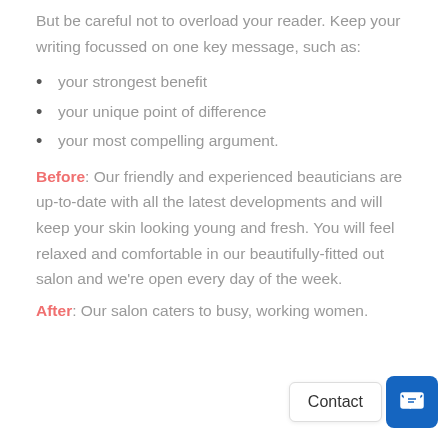But be careful not to overload your reader. Keep your writing focussed on one key message, such as:
your strongest benefit
your unique point of difference
your most compelling argument.
Before: Our friendly and experienced beauticians are up-to-date with all the latest developments and will keep your skin looking young and fresh. You will feel relaxed and comfortable in our beautifully-fitted out salon and we're open every day of the week.
After: Our salon caters to busy, working women.